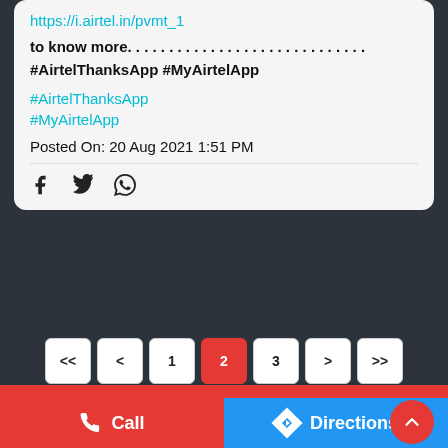https://i.airtel.in/pvmt_1
to know more. . . . . . . . . . . . . . . . . . . . . . . . . . . . . #AirtelThanksApp #MyAirtelApp
#AirtelThanksApp
#MyAirtelApp
Posted On: 20 Aug 2021 1:51 PM
[Figure (infographic): Pagination bar with buttons: <<, <, 1, 2 (active/red), 3, >, >>]
Nearby Locality
Call
Directions